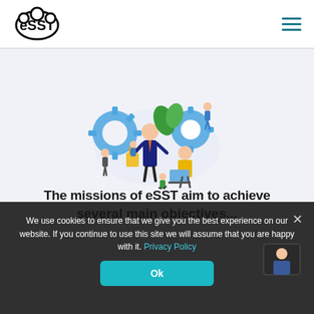eSST [logo] with hamburger menu icon
[Figure (illustration): Business/education illustration showing people working with gears, laptops, and technology icons in a flat design style]
We use cookies to ensure that we give you the best experience on our website. If you continue to use this site we will assume that you are happy with it. Privacy Policy
Ok
The missions of eSST aim to achiev...
several main objectives...